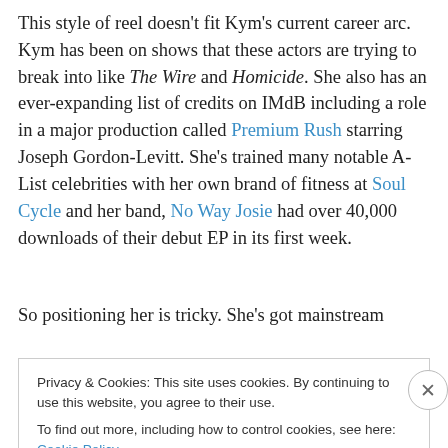This style of reel doesn't fit Kym's current career arc. Kym has been on shows that these actors are trying to break into like The Wire and Homicide. She also has an ever-expanding list of credits on IMdB including a role in a major production called Premium Rush starring Joseph Gordon-Levitt. She's trained many notable A-List celebrities with her own brand of fitness at Soul Cycle and her band, No Way Josie had over 40,000 downloads of their debut EP in its first week.
So positioning her is tricky. She's got mainstream
Privacy & Cookies: This site uses cookies. By continuing to use this website, you agree to their use. To find out more, including how to control cookies, see here: Cookie Policy